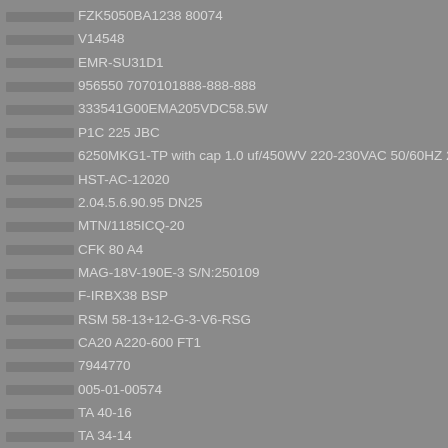FZK5050BA1238 80074
V14548
EMR-SU31D1
956550 7070101888-888-888
333541G00EMA205VDC58.5W
P1C 225 JBC
6250MKG1-TP with cap 1.0 uf/450WV 220-230VAC 50/60HZ 25/28W
HST-AC-12020
2.04.5.6.90.95 DN25
MTN/1185ICQ-20
CFK 80 A4
MAG-18V-190E-3 S/N:250109
F-IRBX38 BSP
RSM 58-13+12-G-3-V6-RSG
CA20 A220-600 FT1
7944770
005-01-00574
TA 40-16
TA 34-14
CEV65M-02224
86P6M-202D800A
86P60-205C800A